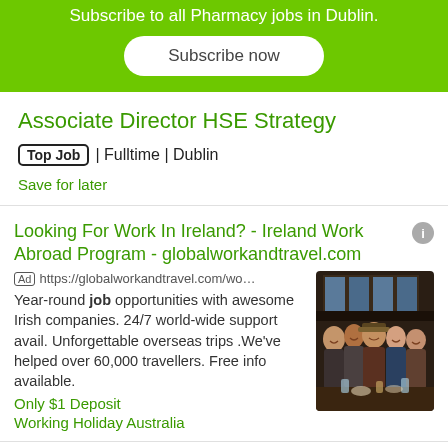Subscribe to all Pharmacy jobs in Dublin.
Subscribe now
Associate Director HSE Strategy
Top Job | Fulltime | Dublin
Save for later
Looking For Work In Ireland? - Ireland Work Abroad Program - globalworkandtravel.com
Ad https://globalworkandtravel.com/wo… Year-round job opportunities with awesome Irish companies. 24/7 world-wide support avail. Unforgettable overseas trips .We've helped over 60,000 travellers. Free info available.
Only $1 Deposit
Working Holiday Australia
[Figure (photo): Group selfie photo of people socialising indoors at what appears to be a restaurant or bar, with windows in the background.]